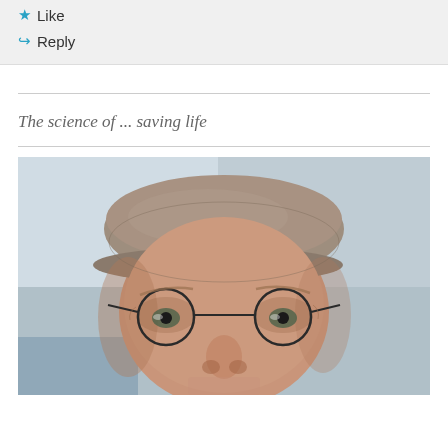Like
Reply
The science of ... saving life
[Figure (photo): Close-up portrait of a middle-aged man wearing a grey flat cap and small round wire-framed glasses, looking directly at the camera with a blurred outdoor background]